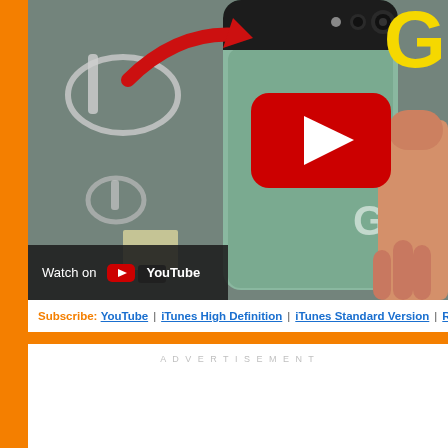[Figure (screenshot): YouTube video thumbnail showing a Google Pixel 6a smartphone (sage/green color) being held in a hand, with a red arrow pointing to the camera bar, accessories (cable) in the background, and a YouTube play button overlay. 'Watch on YouTube' bar in lower left. Yellow 'G' text in upper right corner.]
Subscribe: YouTube | iTunes High Definition | iTunes Standard Version | RSS
ADVERTISEMENT